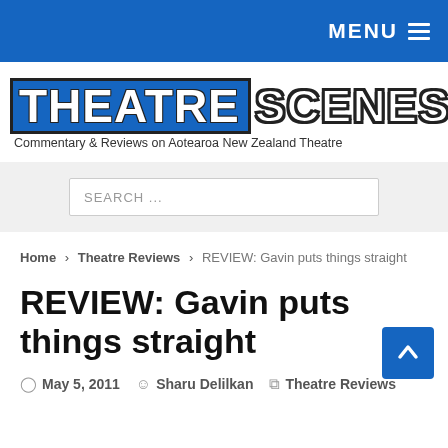MENU
[Figure (logo): Theatre Scenes logo with text THEATRE SCENES and subtitle Commentary & Reviews on Aotearoa New Zealand Theatre, with a theatre building image on the right]
SEARCH ...
Home > Theatre Reviews > REVIEW: Gavin puts things straight
REVIEW: Gavin puts things straight
May 5, 2011   Sharu Delilkan   Theatre Reviews